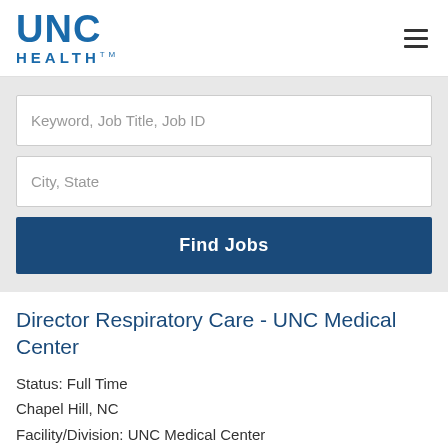[Figure (logo): UNC Health logo — blue text UNC large, HEALTH below in smaller caps with trademark symbol]
Director Respiratory Care - UNC Medical Center
Status: Full Time
Chapel Hill, NC
Facility/Division: UNC Medical Center
Director Respiratory Care - UNC Medical Center